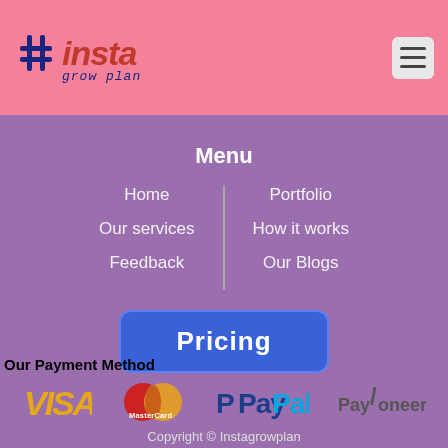[Figure (logo): Instagrowplan logo with hashtag icon, red italic 'insta' text, and 'grow plan' below in navy blue]
Menu
Home
Our services
Feedback
Portfolio
How it works
Our Blogs
Pricing
Our Payment Method
[Figure (logo): Payment method logos: VISA, MasterCard, PayPal, Payoneer]
Copyright © Instagrowplan